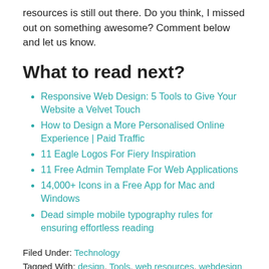resources is still out there. Do you think, I missed out on something awesome? Comment below and let us know.
What to read next?
Responsive Web Design: 5 Tools to Give Your Website a Velvet Touch
How to Design a More Personalised Online Experience | Paid Traffic
11 Eagle Logos For Fiery Inspiration
11 Free Admin Template For Web Applications
14,000+ Icons in a Free App for Mac and Windows
Dead simple mobile typography rules for ensuring effortless reading
Filed Under: Technology
Tagged With: design, Tools, web resources, webdesign